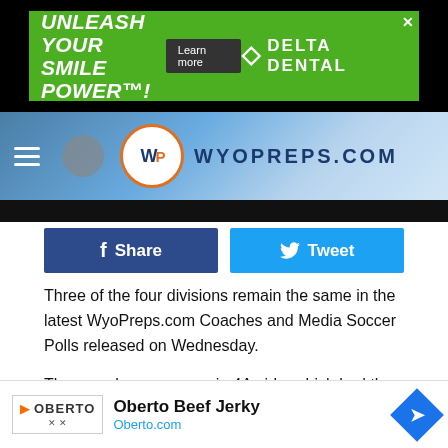[Figure (screenshot): Delta Dental advertisement banner: green background with 'UNLEASH YOUR SMILE POWER!' text, Learn more button, Delta Dental logo, and X close button]
[Figure (logo): WyoPreps.com navigation header with hamburger menu, WP logo circle, and WYOPREPS.COM text on blue gradient background]
[Figure (screenshot): Facebook Share and Twitter Tweet social sharing buttons]
Three of the four divisions remain the same in the latest WyoPreps.com Coaches and Media Soccer Polls released on Wednesday.
The one change comes in 4A girls, which had the only movement and one new team is into the rankings.
Thunder Basin stays atop 4A girls with 12 of the 13 first-place votes. Rock Springs is new in the second position. The Tigers [...]Central drops [...] ek's
[Figure (screenshot): Oberto Beef Jerky advertisement overlay at bottom of page with Oberto logo, Oberto.com link, and navigation arrow]